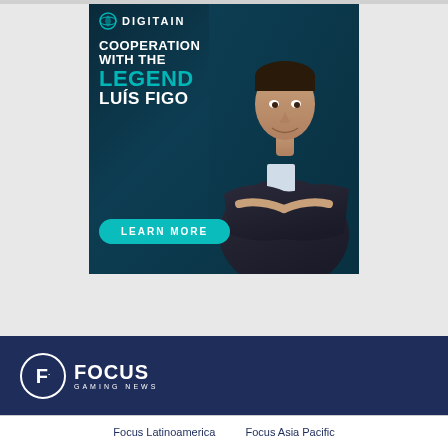[Figure (illustration): Digitain advertisement banner featuring Luis Figo. Dark teal/navy background with text 'COOPERATION WITH THE LEGEND LUÍS FIGO' and a 'LEARN MORE' teal button. Photo of Luis Figo in suit on the right side.]
[Figure (logo): Focus Gaming News logo — white 'F' in a circle, followed by FOCUS in large bold white letters and GAMING NEWS in small spaced letters beneath, on dark navy background.]
Focus Latinoamerica   Focus Asia Pacific